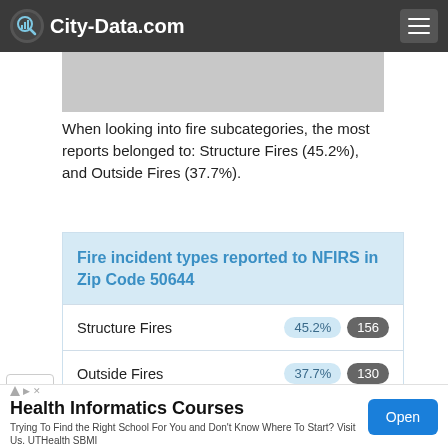City-Data.com
[Figure (photo): Gray placeholder image band]
When looking into fire subcategories, the most reports belonged to: Structure Fires (45.2%), and Outside Fires (37.7%).
| Fire incident types reported to NFIRS in Zip Code 50644 |  |  |
| --- | --- | --- |
| Structure Fires | 45.2% | 156 |
| Outside Fires | 37.7% | 130 |
| Mobile Property/Vehicle Fires | 13.9% | 48 |
Health Informatics Courses
Trying To Find the Right School For You and Don't Know Where To Start? Visit Us. UTHealth SBMI